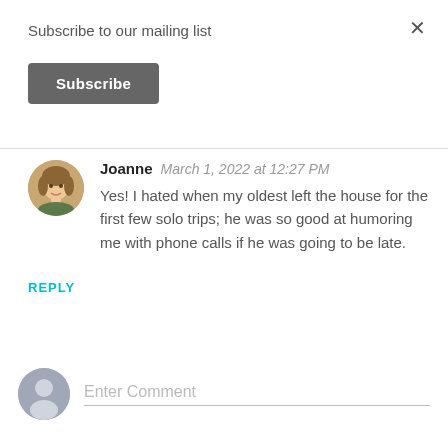Subscribe to our mailing list
Subscribe
Joanne  March 1, 2022 at 12:27 PM
Yes! I hated when my oldest left the house for the first few solo trips; he was so good at humoring me with phone calls if he was going to be late.
REPLY
Enter Comment